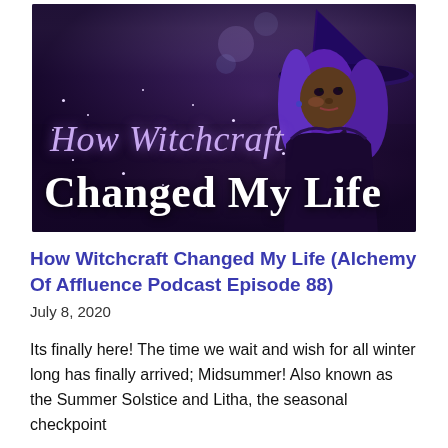[Figure (photo): Podcast cover image showing a Black woman with purple hair wearing a large purple witch hat, in front of a blurry outdoor scene. Text overlay reads 'How Witchcraft Changed My Life' in purple/white serif font.]
How Witchcraft Changed My Life (Alchemy Of Affluence Podcast Episode 88)
July 8, 2020
Its finally here! The time we wait and wish for all winter long has finally arrived; Midsummer! Also known as the Summer Solstice and Litha, the seasonal checkpoint